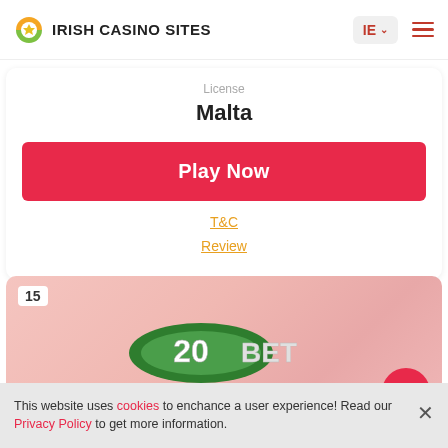Irish Casino Sites | IE
License
Malta
Play Now
T&C
Review
15
[Figure (logo): 20Bet logo on pink gradient background]
This website uses cookies to enchance a user experience! Read our Privacy Policy to get more information.